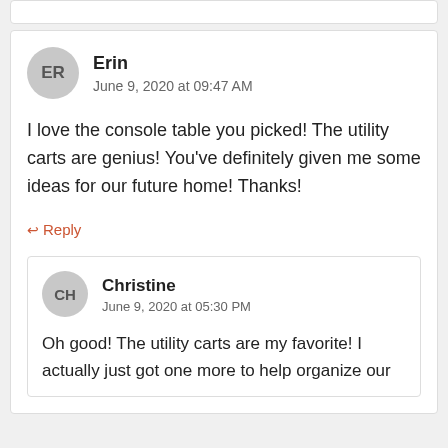Erin
June 9, 2020 at 09:47 AM
I love the console table you picked! The utility carts are genius! You’ve definitely given me some ideas for our future home! Thanks!
↩ Reply
Christine
June 9, 2020 at 05:30 PM
Oh good! The utility carts are my favorite! I actually just got one more to help organize our